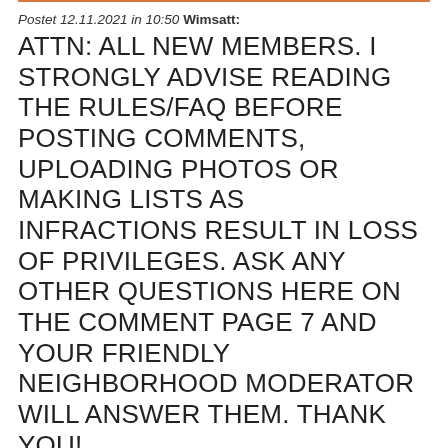Postet 12.11.2021 in 10:50 Wimsatt: ATTN: ALL NEW MEMBERS. I STRONGLY ADVISE READING THE RULES/FAQ BEFORE POSTING COMMENTS, UPLOADING PHOTOS OR MAKING LISTS AS INFRACTIONS RESULT IN LOSS OF PRIVILEGES. ASK ANY OTHER QUESTIONS HERE ON THE COMMENT PAGE 7 AND YOUR FRIENDLY NEIGHBORHOOD MODERATOR WILL ANSWER THEM. THANK YOU!
ESCORT GIRLS ITALY
LESBIAN MTV YULISSA
CASERAS PORN LANEY
NYMPHOMANIAC WHORE BARCELONA
VINTAGE POLARIOD EMELDA
VINTAGE FARMALL ADALEE
FRENCH HOOKER SANDTON